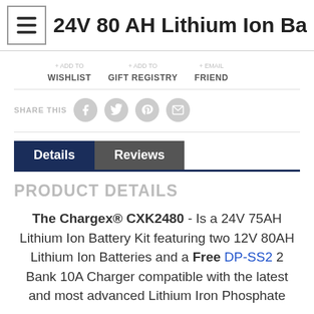24V 80 AH Lithium Ion Battery | De
+ ADD TO WISHLIST  + ADD TO GIFT REGISTRY  + EMAIL FRIEND
SHARE THIS
Details  Reviews
PRODUCT DETAILS
The Chargex® CXK2480 - Is a 24V 75AH Lithium Ion Battery Kit featuring two 12V 80AH Lithium Ion Batteries and a Free DP-SS2 2 Bank 10A Charger compatible with the latest and most advanced Lithium Iron Phosphate